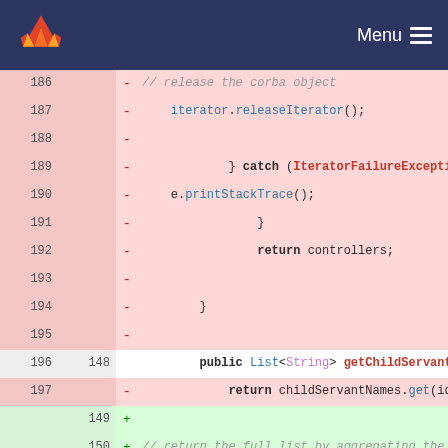Menu
[Figure (screenshot): GitLab code diff view showing removed lines 186-197 (pink background) and added lines 148-150 (green background). Code is Java showing iterator.releaseIterator(), catch (IteratorFailureException e), e.printStackTrace(), return controllers, closing braces, and getChildServants method. New lines show + markers with return childServantNames.get(id) and a comment about returning full list by aggregating child names.]